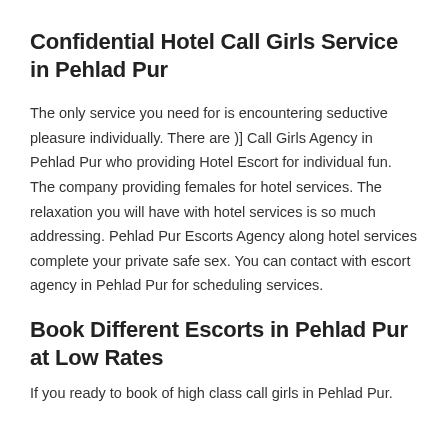Confidential Hotel Call Girls Service in Pehlad Pur
The only service you need for is encountering seductive pleasure individually. There are )] Call Girls Agency in Pehlad Pur who providing Hotel Escort for individual fun. The company providing females for hotel services. The relaxation you will have with hotel services is so much addressing. Pehlad Pur Escorts Agency along hotel services complete your private safe sex. You can contact with escort agency in Pehlad Pur for scheduling services.
Book Different Escorts in Pehlad Pur at Low Rates
If you ready to book of high class call girls in Pehlad Pur.